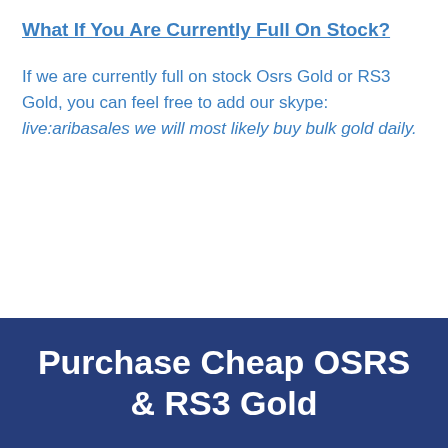What If You Are Currently Full On Stock?
If we are currently full on stock Osrs Gold or RS3 Gold, you can feel free to add our skype:  live:aribasales we will most likely buy bulk gold daily.
Purchase Cheap OSRS & RS3 Gold